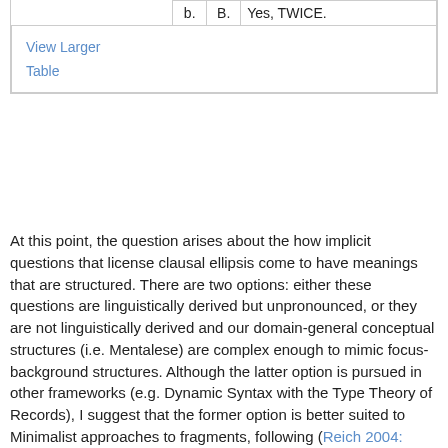|  | b. | B. | Yes, TWICE. |
View Larger
Table
At this point, the question arises about the how implicit questions that license clausal ellipsis come to have meanings that are structured. There are two options: either these questions are linguistically derived but unpronounced, or they are not linguistically derived and our domain-general conceptual structures (i.e. Mentalese) are complex enough to mimic focus-background structures. Although the latter option is pursued in other frameworks (e.g. Dynamic Syntax with the Type Theory of Records), I suggest that the former option is better suited to Minimalist approaches to fragments, following (Reich 2004: §5.2). This is because these approaches analyse fragments as remnants of ellipsis, which has been characterised as a surface anaphor (Hankamer & Sag 1976). This characterisation can be maintained if the implicit questions that license clausal ellipsis are linguistically derived but...